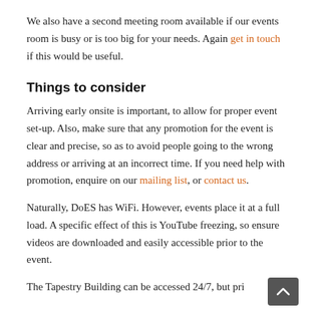We also have a second meeting room available if our events room is busy or is too big for your needs. Again get in touch if this would be useful.
Things to consider
Arriving early onsite is important, to allow for proper event set-up. Also, make sure that any promotion for the event is clear and precise, so as to avoid people going to the wrong address or arriving at an incorrect time. If you need help with promotion, enquire on our mailing list, or contact us.
Naturally, DoES has WiFi. However, events place it at a full load. A specific effect of this is YouTube freezing, so ensure videos are downloaded and easily accessible prior to the event.
The Tapestry Building can be accessed 24/7, but pri…-up